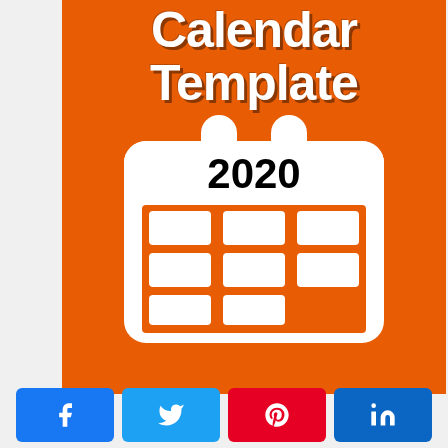[Figure (illustration): Orange background promotional image showing 'Calendar Template' text in white bold letters with a white calendar icon showing 2020 on an orange background]
[Figure (infographic): Social share bar with four buttons: Facebook (blue), Twitter (light blue), Pinterest (red), LinkedIn (dark blue)]